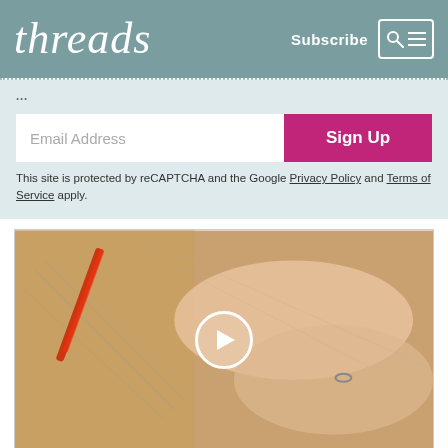threads — Subscribe [search icon] [menu icon]
Email Address
Sign Up
This site is protected by reCAPTCHA and the Google Privacy Policy and Terms of Service apply.
[Figure (photo): Hands cutting sewing pattern paper with red scissors, video thumbnail with play button overlay]
THREADS VIDEOS
Learn professional techniques to create garments that fit your shape